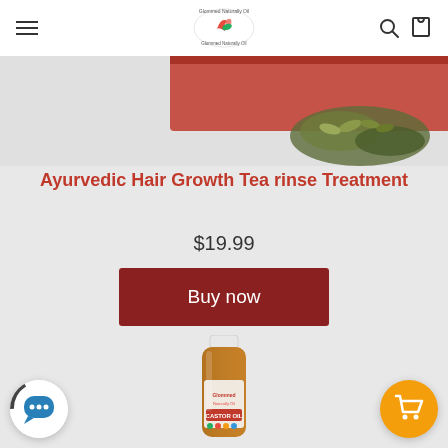Glommed Naturally Oil — navigation header with logo, hamburger menu, search and cart icons
[Figure (photo): Partial top view of product packaging for Ayurvedic Hair Growth Tea rinse Treatment, showing a red ribbon/band and dried herbs/leaves on a light grey background]
Ayurvedic Hair Growth Tea rinse Treatment
$19.99
Buy now
[Figure (photo): A brown plastic bottle of Castor Oil product from Glommed Naturally Oil with white cap, label showing brand logo and product name CASTOR OIL, on grey background]
[Figure (illustration): Chat bubble icon button (white circle with blue speech bubble) in bottom left corner]
[Figure (illustration): Shopping cart icon button (orange circle with white cart icon) in bottom right corner]